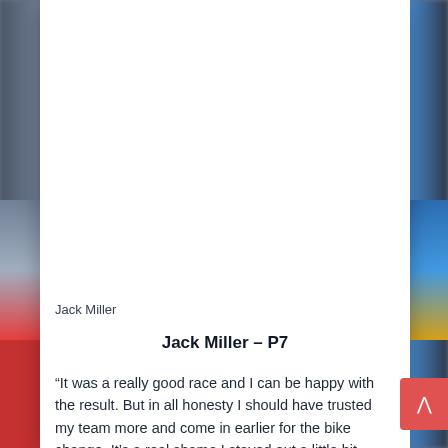[Figure (photo): White card overlay on blurred background showing a racing/sports context. Upper portion is white space (image cropped). Side panels show blurred colored background.]
Jack Miller
Jack Miller – P7
“It was a really good race and I can be happy with the result. But in all honesty I should have trusted my team more and come in earlier for the bike change. It’s a real shame I stayed out a little bit too long because I’m sure I could have been standing on the podium again. It was a